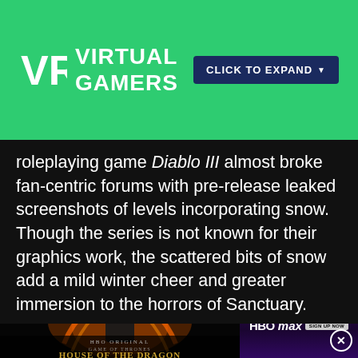VR VIRTUAL GAMERS | CLICK TO EXPAND
roleplaying game Diablo III almost broke fan-centric forums with pre-release leaked screenshots of levels incorporating snow. Though the series is not known for their graphics work, the scattered bits of snow add a mild winter cheer and greater immersion to the horrors of Sanctuary.
[Figure (photo): House of the Dragon HBO Original Game of Thrones promotional poster showing a character with blonde hair surrounded by flames]
[Figure (advertisement): HBO Max Now Streaming advertisement on purple/dark background with sign up now button]